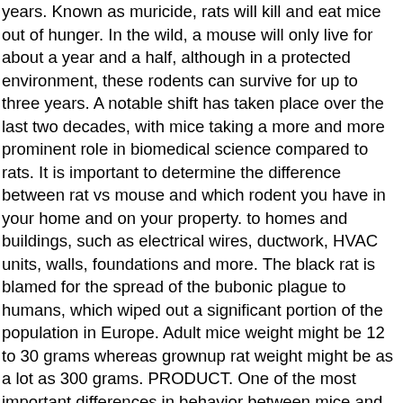years. Known as muricide, rats will kill and eat mice out of hunger. In the wild, a mouse will only live for about a year and a half, although in a protected environment, these rodents can survive for up to three years. A notable shift has taken place over the last two decades, with mice taking a more and more prominent role in biomedical science compared to rats. It is important to determine the difference between rat vs mouse and which rodent you have in your home and on your property. to homes and buildings, such as electrical wires, ductwork, HVAC units, walls, foundations and more. The black rat is blamed for the spread of the bubonic plague to humans, which wiped out a significant portion of the population in Europe. Adult mice weight might be 12 to 30 grams whereas grownup rat weight might be as a lot as 300 grams. PRODUCT. One of the most important differences in behavior between mice and rats is that mice are curious and rats are cautious. What's one thing we can agree upon? While a rat is either medium-sized or large, a mouse is relatively smaller in size. Rat droppings can often been mistaken for mouse droppings and those from a cockroach. One of the ways people become aware they have a rodent problem is through the discovery of droppings. When you start seeing signs of a rodent infestation, how can you tell what kind of critter is moving in on your